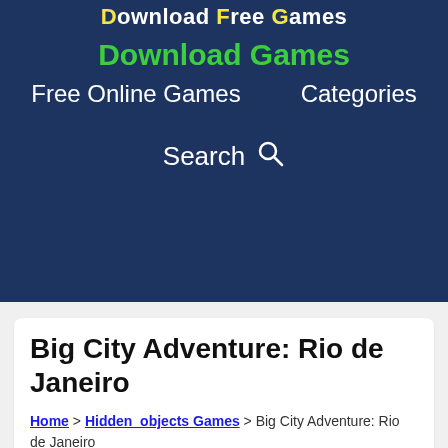Download Free Games
Download Games
Free Online Games   Categories
Search
Big City Adventure: Rio de Janeiro
Home > Hidden_objects Games > Big City Adventure: Rio de Janeiro